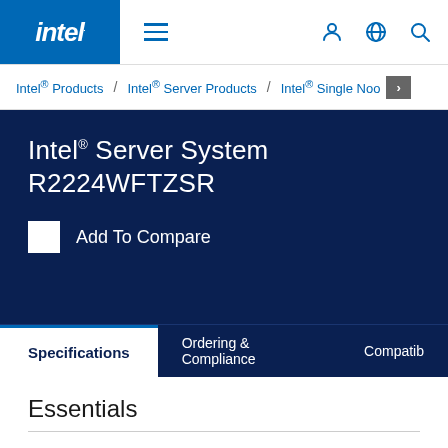intel. ☰ [user icon] [globe icon] [search icon]
Intel® Products / Intel® Server Products / Intel® Single Noo >
Intel® Server System R2224WFTZSR
Add To Compare
Specifications | Ordering & Compliance | Compatib
Essentials
Product Collection    Intel® Server System R2000WFR Family